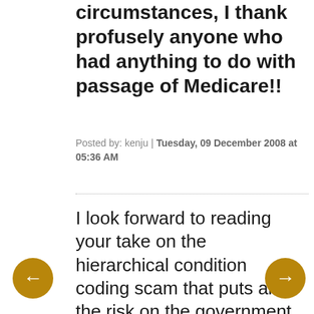circumstances, I thank profusely anyone who had anything to do with passage of Medicare!!
Posted by: kenju | Tuesday, 09 December 2008 at 05:36 AM
I look forward to reading your take on the hierarchical condition coding scam that puts all of the risk on the government leaving the health plans with nothing but gravy. The spiraling "cost" of Medicare is almost entirely about these financial management companies capitalizing with health